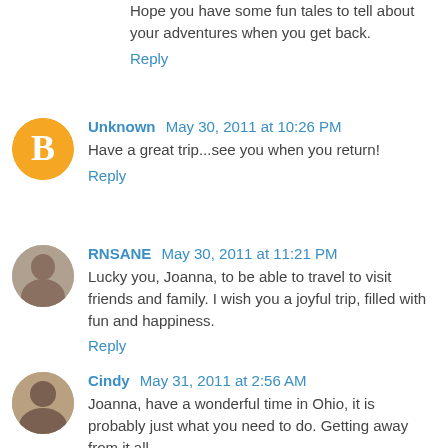Hope you have some fun tales to tell about your adventures when you get back.
Reply
Unknown  May 30, 2011 at 10:26 PM
Have a great trip...see you when you return!
Reply
RNSANE  May 30, 2011 at 11:21 PM
Lucky you, Joanna, to be able to travel to visit friends and family. I wish you a joyful trip, filled with fun and happiness.
Reply
Cindy  May 31, 2011 at 2:56 AM
Joanna, have a wonderful time in Ohio, it is probably just what you need to do. Getting away from it all, enjoy your family time. will be here whenever you get back.